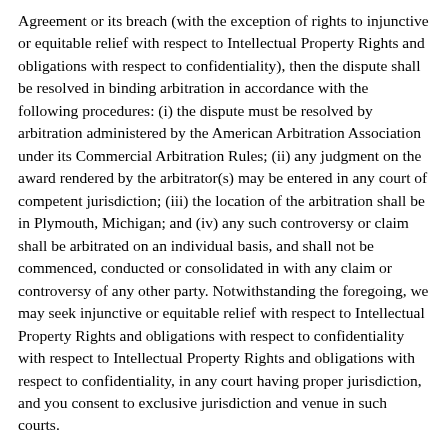Agreement or its breach (with the exception of rights to injunctive or equitable relief with respect to Intellectual Property Rights and obligations with respect to confidentiality), then the dispute shall be resolved in binding arbitration in accordance with the following procedures: (i) the dispute must be resolved by arbitration administered by the American Arbitration Association under its Commercial Arbitration Rules; (ii) any judgment on the award rendered by the arbitrator(s) may be entered in any court of competent jurisdiction; (iii) the location of the arbitration shall be in Plymouth, Michigan; and (iv) any such controversy or claim shall be arbitrated on an individual basis, and shall not be commenced, conducted or consolidated in with any claim or controversy of any other party. Notwithstanding the foregoing, we may seek injunctive or equitable relief with respect to Intellectual Property Rights and obligations with respect to confidentiality with respect to Intellectual Property Rights and obligations with respect to confidentiality, in any court having proper jurisdiction, and you consent to exclusive jurisdiction and venue in such courts.
14. Choice of Law and Forum. The Services and the AFB Sites are controlled by us from within the State of Michigan. Subject to Section 13, by submitting a registration or by accessing or using the AFB Sites or the Services, you and we each agree that the substantive laws of the State of Michigan will govern with respect